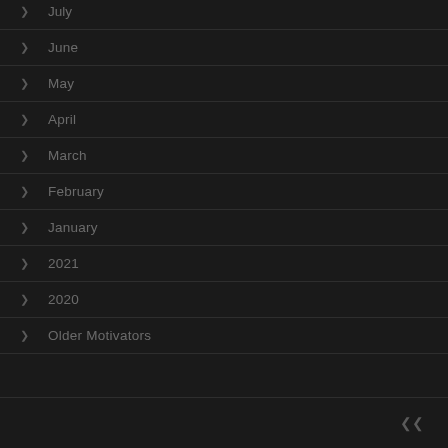July
June
May
April
March
February
January
2021
2020
Older Motivators